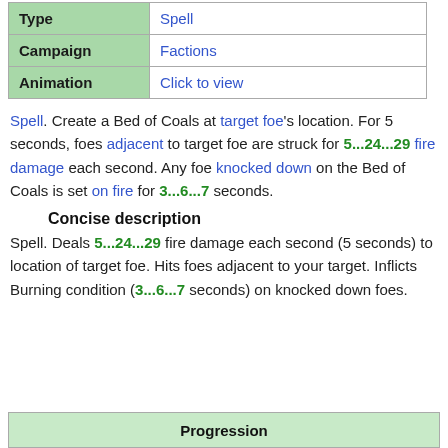| Type | Campaign | Animation |
| --- | --- | --- |
| Type | Spell |
| Campaign | Factions |
| Animation | Click to view |
Spell. Create a Bed of Coals at target foe's location. For 5 seconds, foes adjacent to target foe are struck for 5...24...29 fire damage each second. Any foe knocked down on the Bed of Coals is set on fire for 3...6...7 seconds.
Concise description
Spell. Deals 5...24...29 fire damage each second (5 seconds) to location of target foe. Hits foes adjacent to your target. Inflicts Burning condition (3...6...7 seconds) on knocked down foes.
Progression